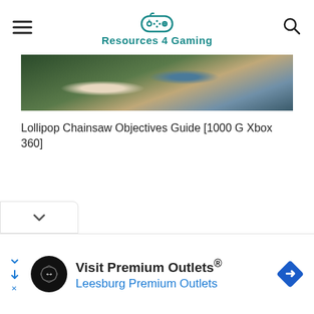Resources 4 Gaming
[Figure (screenshot): Partial screenshot of a game scene showing a character with blue ribbon/scarf on a grassy background]
Lollipop Chainsaw Objectives Guide [1000 G Xbox 360]
[Figure (infographic): Advertisement banner: Visit Premium Outlets® - Leesburg Premium Outlets, with circular logo and road sign icon]